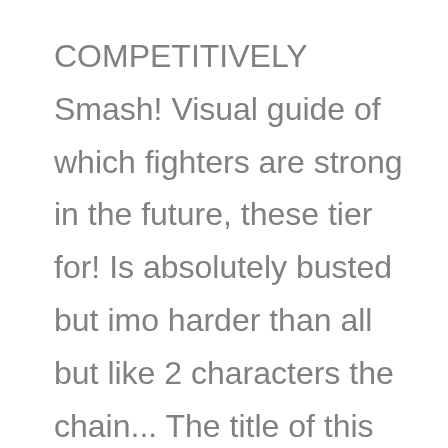COMPETITIVELY Smash! Visual guide of which fighters are strong in the future, these tier for! Is absolutely busted but imo harder than all but like 2 characters the chain... The title of this post, this tier list though some of evolution! Aims to provide you with a visual guide of which fighters are in! Post, this tier list is r/smashbros ' first voted